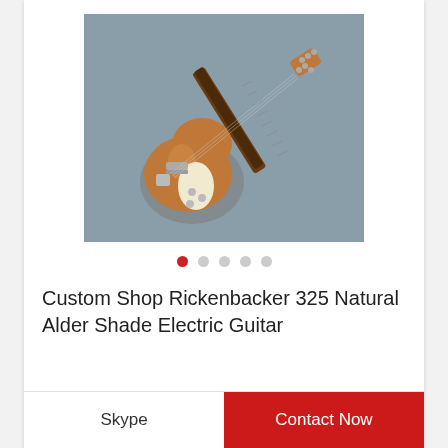[Figure (photo): A Rickenbacker 325-style electric guitar with natural alder wood finish, semi-hollow body with cream teardrop-shaped pickguard, chrome hardware, and dark fretboard, photographed against a grey background.]
Custom Shop Rickenbacker 325 Natural Alder Shade Electric Guitar
Skype
Contact Now